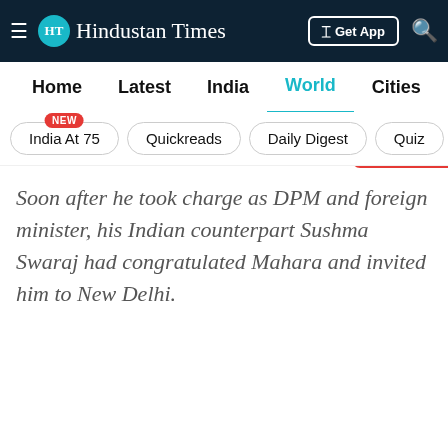HT Hindustan Times | Get App | Search
Home | Latest | India | World | Cities | Entertainment
India At 75 NEW | Quickreads | Daily Digest | Quiz | V
Soon after he took charge as DPM and foreign minister, his Indian counterpart Sushma Swaraj had congratulated Mahara and invited him to New Delhi.